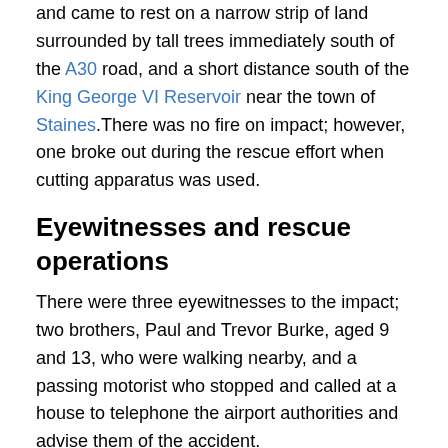and came to rest on a narrow strip of land surrounded by tall trees immediately south of the A30 road, and a short distance south of the King George VI Reservoir near the town of Staines.There was no fire on impact; however, one broke out during the rescue effort when cutting apparatus was used.
Eyewitnesses and rescue operations
There were three eyewitnesses to the impact; two brothers, Paul and Trevor Burke, aged 9 and 13, who were walking nearby, and a passing motorist who stopped and called at a house to telephone the airport authorities and advise them of the accident.
We were out with the dog and I looked up and saw the plane. It was just coming out of the mist when the engines